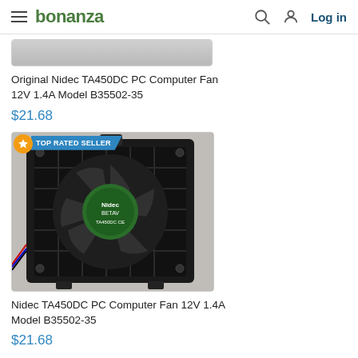bonanza | Log in
[Figure (photo): Partially visible product image of a PC fan (top portion cut off)]
Original Nidec TA450DC PC Computer Fan 12V 1.4A Model B35502-35
$21.68
[Figure (photo): Photo of a Nidec TA450DC PC Computer Fan with green Nidec BETAV label on center hub, mounted in black frame/housing. TOP RATED SELLER badge visible in top-left corner.]
Nidec TA450DC PC Computer Fan 12V 1.4A Model B35502-35
$21.68